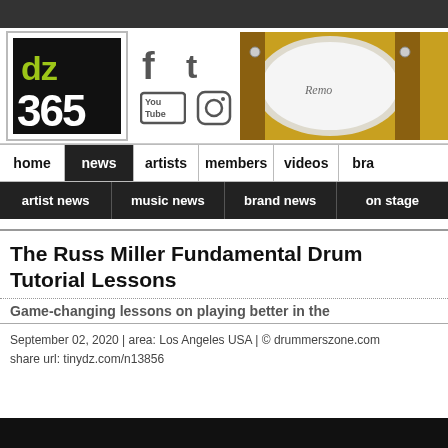[Figure (logo): dz365 drummerszone logo with social media icons (Facebook, Twitter, YouTube, Instagram) and a drum photo]
home | news | artists | members | videos | bra
artist news | music news | brand news | on stage
The Russ Miller Fundamental Drum Tutorial Lessons
Game-changing lessons on playing better in the
September 02, 2020 | area: Los Angeles USA | © drummerszone.com
share url: tinydz.com/n13856